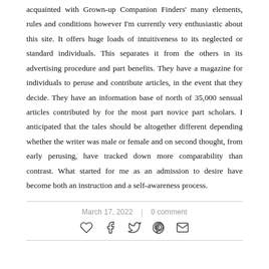acquainted with Grown-up Companion Finders' many elements, rules and conditions however I'm currently very enthusiastic about this site. It offers huge loads of intuitiveness to its neglected or standard individuals. This separates it from the others in its advertising procedure and part benefits. They have a magazine for individuals to peruse and contribute articles, in the event that they decide. They have an information base of north of 35,000 sensual articles contributed by for the most part novice part scholars. I anticipated that the tales should be altogether different depending whether the writer was male or female and on second thought, from early perusing, have tracked down more comparability than contrast. What started for me as an admission to desire have become both an instruction and a self-awareness process.
March 17, 2022 | 0 comment